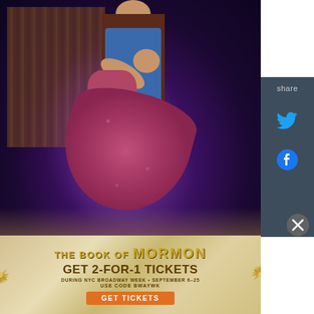[Figure (photo): Stage performance photo showing two dancers — a man in denim overalls and plaid shirt, and a woman in a floral dress — performing on a dimly lit purple-toned stage with a wooden structure in the background.]
share
[Figure (illustration): Twitter bird logo icon in cyan/blue on dark grey background, used as a share button.]
[Figure (illustration): Facebook 'f' logo icon in blue on dark grey background, used as a share button.]
[Figure (illustration): Close/dismiss button — grey circle with white X icon.]
[Figure (infographic): Advertisement banner for 'The Book of Mormon' Broadway show. Gold/tan background with starburst decoration. Text: THE BOOK OF MORMON / GET 2-FOR-1 TICKETS / DURING NYC BROADWAY WEEK • SEPTEMBER 6–25 / USE CODE BWAYWK / GET TICKETS button in orange.]
THE BOOK OF MORMON
GET 2-FOR-1 TICKETS
DURING NYC BROADWAY WEEK • SEPTEMBER 6–25
USE CODE BWAYWK
GET TICKETS